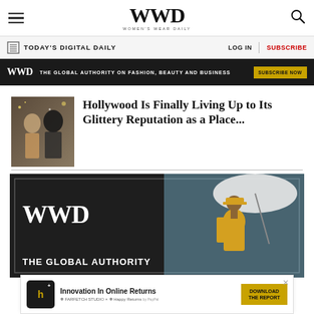WWD - Women's Wear Daily
TODAY'S DIGITAL DAILY | LOG IN | SUBSCRIBE
[Figure (infographic): WWD dark banner: THE GLOBAL AUTHORITY ON FASHION, BEAUTY AND BUSINESS | SUBSCRIBE NOW]
Hollywood Is Finally Living Up to Its Glittery Reputation as a Place...
[Figure (infographic): Large WWD advertisement with model in yellow cap holding white umbrella: WWD - THE GLOBAL AUTHORITY]
[Figure (infographic): Bottom banner ad: Innovation In Online Returns - DOWNLOAD THE REPORT (Farfetch Studio x Happy Returns)]